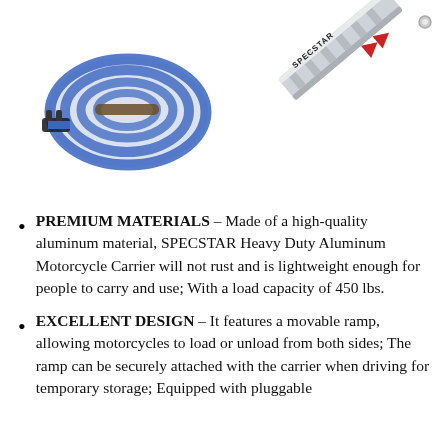[Figure (photo): Blue nylon strap/tie-down with metal hooks coiled up]
[Figure (photo): Silver aluminum motorcycle carrier ramp with SPECSTAR branding and red arrow indicators, shown at an angle]
PREMIUM MATERIALS – Made of a high-quality aluminum material, SPECSTAR Heavy Duty Aluminum Motorcycle Carrier will not rust and is lightweight enough for people to carry and use; With a load capacity of 450 lbs.
EXCELLENT DESIGN – It features a movable ramp, allowing motorcycles to load or unload from both sides; The ramp can be securely attached with the carrier when driving for temporary storage; Equipped with pluggable connectors to drive to mobile places.